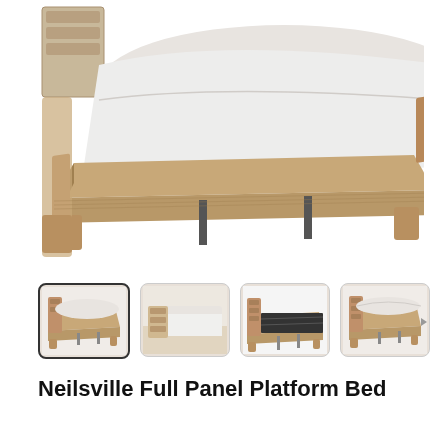[Figure (photo): Product photo of a rustic wooden full platform bed with light wood finish and metal center support legs, white bedding, viewed from slight angle. Headboard partially visible at top left.]
[Figure (photo): Row of four product thumbnail images of the Neilsville Full Panel Platform Bed from different angles. First thumbnail is selected (has border).]
Neilsville Full Panel Platform Bed